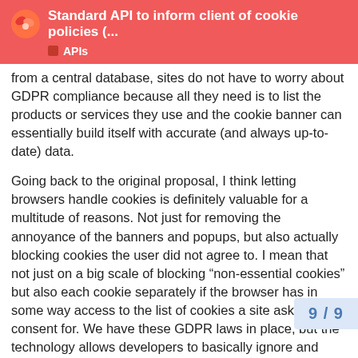Standard API to inform client of cookie policies (... | APIs
from a central database, sites do not have to worry about GDPR compliance because all they need is to list the products or services they use and the cookie banner can essentially build itself with accurate (and always up-to-date) data.
Going back to the original proposal, I think letting browsers handle cookies is definitely valuable for a multitude of reasons. Not just for removing the annoyance of the banners and popups, but also actually blocking cookies the user did not agree to. I mean that not just on a big scale of blocking “non-essential cookies” but also each cookie separately if the browser has in some way access to the list of cookies a site asks consent for. We have these GDPR laws in place, but the technology allows developers to basically ignore and break that law, and as far as I know there are rarely ever consequences for that. With implementing cookie banners on a browser level we could actually ensure full GDPR compliance because the browser can just block whatever you didn’t consent to (on top of that, browsers can more accurately handle because they can probably more reliably d
9 / 9